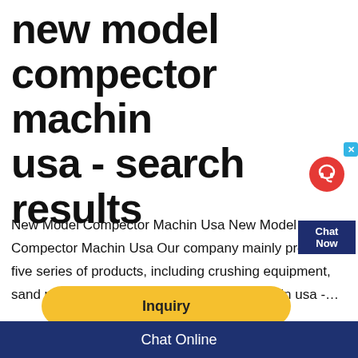new model compector machin usa - search results
New Model Compector Machin Usa New Model Compector Machin Usa Our company mainly produces five series of products, including crushing equipment, sand making eq new model compector machin usa -…
[Figure (other): Chat Now widget with headset icon and close button]
Inquiry
Request a Quote
Chat Online